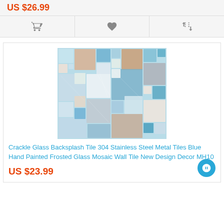US $26.99
[Figure (illustration): Three action icons: shopping cart, heart/wishlist, and compare arrows]
[Figure (photo): Crackle glass and stainless steel mosaic wall tile in blue, white, and silver]
Crackle Glass Backsplash Tile 304 Stainless Steel Metal Tiles Blue Hand Painted Frosted Glass Mosaic Wall Tile New Design Decor MH10
US $23.99